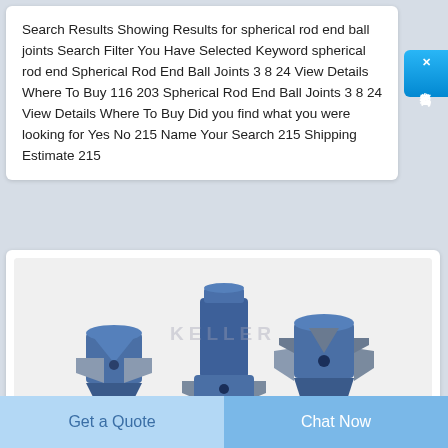Search Results Showing Results for spherical rod end ball joints Search Filter You Have Selected Keyword spherical rod end Spherical Rod End Ball Joints 3 8 24 View Details Where To Buy 116 203 Spherical Rod End Ball Joints 3 8 24 View Details Where To Buy Did you find what you were looking for Yes No 215 Name Your Search 215 Shipping Estimate 215
[Figure (photo): Photo of three blue drill bit / rock drilling tool heads of varying sizes, shown against a light background with a faint watermark text 'KELLER' in the center.]
Get a Quote
Chat Now